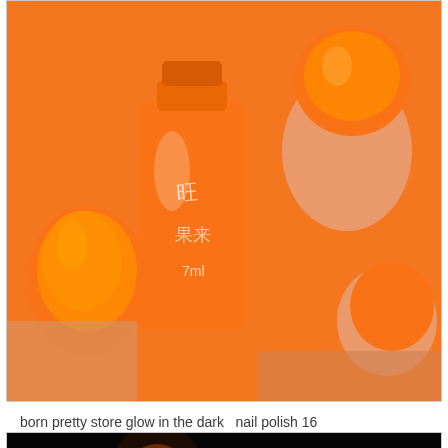[Figure (photo): Close-up photograph of a hand holding an orange nail polish bottle, with bright orange nails visible. The bottle has Chinese text and '7ml' on it.]
born pretty store glow in the dark  nail polish 16
[Figure (photo): Dark photograph of a hand with orange glowing nails in the dark. The nails appear to glow orange/amber. A watermark reads 'crazypolishes.com'. There is a slight green glow visible near the wrist area.]